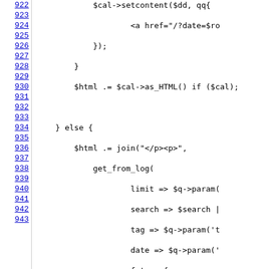[Figure (screenshot): Source code listing showing Perl code lines 922-943 with line numbers as hyperlinks on the left and code on the right. Code includes $cal->setcontent, HTML generation, else block with $html .= join, get_from_log function call with parameters limit, search, tag, date, fmt with date=>sub and qq{}, time, time_channel, nick, me_nick.]